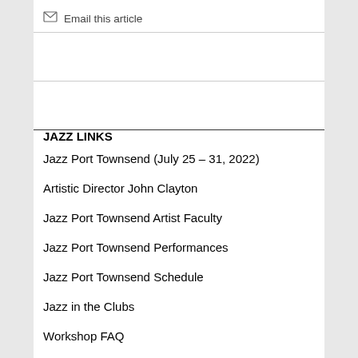Email this article
JAZZ LINKS
Jazz Port Townsend (July 25 – 31, 2022)
Artistic Director John Clayton
Jazz Port Townsend Artist Faculty
Jazz Port Townsend Performances
Jazz Port Townsend Schedule
Jazz in the Clubs
Workshop FAQ
Jazz Port Townsend Educator's Track